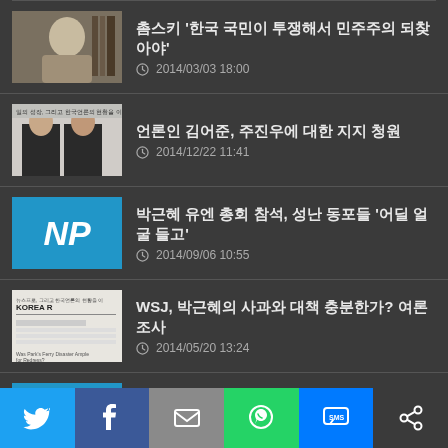촘스키 '한국 국민이 투쟁해서 민주주의 되찾아야' — 2014/03/03 18:00
언론인 김어준, 주진우에 대한 지지 청원 — 2014/12/22 11:41
박근혜 유엔 총회 참석, 성난 동포들 '어딜 얼굴 들고' — 2014/09/06 10:55
WSJ, 박근혜의 사과와 대책 충분한가? 여론 조사 — 2014/05/20 13:24
뉴스프로 압수수색에 국내외 언론 뜨거운 관심 — 2014/09/20 12:51
[Figure (screenshot): Bottom share bar with Twitter, Facebook, Email, WhatsApp, SMS, and other sharing icons]